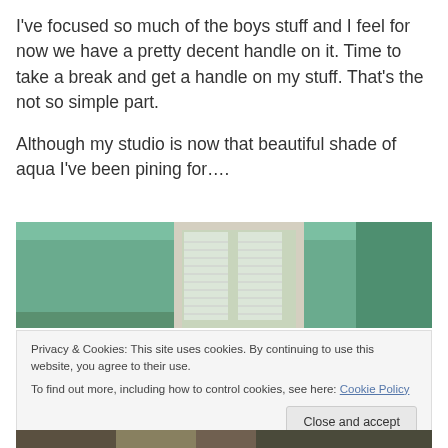I've focused so much of the boys stuff and I feel for now we have a pretty decent handle on it. Time to take a break and get a handle on my stuff. That's the not so simple part.
Although my studio is now that beautiful shade of aqua I've been pining for....
[Figure (photo): Interior room photo showing aqua/teal painted walls and a window with white blinds]
Privacy & Cookies: This site uses cookies. By continuing to use this website, you agree to their use. To find out more, including how to control cookies, see here: Cookie Policy
[Figure (photo): Partial view of another interior photo at the bottom of the page]